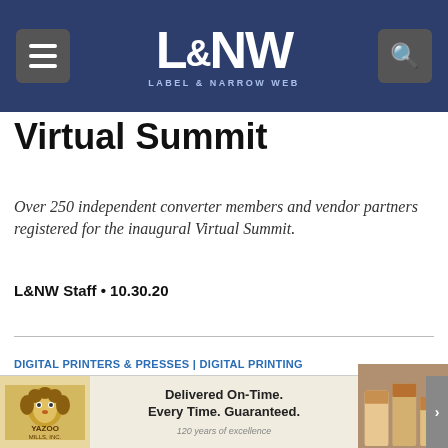L&NW Label & Narrow Web
Virtual Summit
Over 250 independent converter members and vendor partners registered for the inaugural Virtual Summit.
L&NW Staff • 10.30.20
DIGITAL PRINTERS & PRESSES | DIGITAL PRINTING
[Figure (photo): Group of people standing in front of red equipment]
Xeikon enables Poland's Labo Print to add paper cup
[Figure (other): Yazoo Mills advertisement: Delivered On-Time. Every Time. Guaranteed. 120 years of excellence]